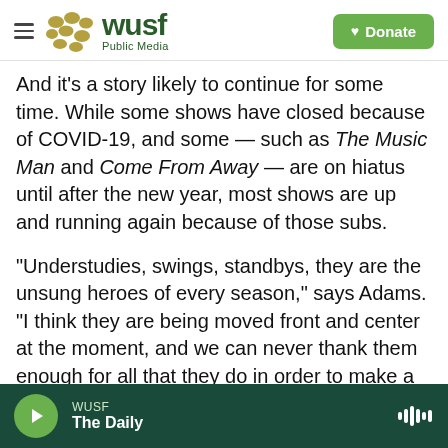WUSF Public Media | Donate
And it's a story likely to continue for some time. While some shows have closed because of COVID-19, and some — such as The Music Man and Come From Away — are on hiatus until after the new year, most shows are up and running again because of those subs.
"Understudies, swings, standbys, they are the unsung heroes of every season," says Adams. "I think they are being moved front and center at the moment, and we can never thank them enough for all that they do in order to make a Broadway run on a regular basis. But right now, they are truly the
WUSF | The Daily